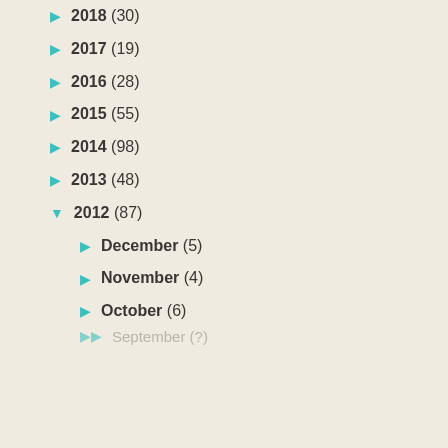2018 (30)
2017 (19)
2016 (28)
2015 (55)
2014 (98)
2013 (48)
2012 (87)
December (5)
November (4)
October (6)
September (?)